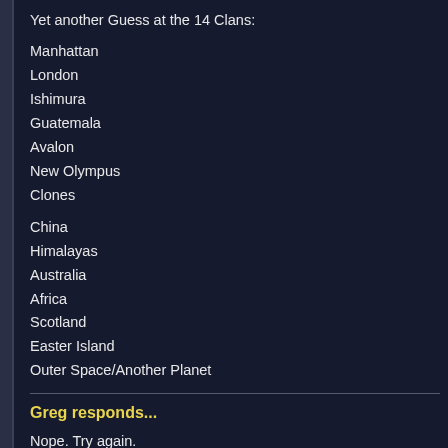Yet another Guess at the 14 Clans:
Manhattan
London
Ishimura
Guatemala
Avalon
New Olympus
Clones
China
Himalayas
Australia
Africa
Scotland
Easter Island
Outer Space/Another Planet
Greg responds...
Nope. Try again.